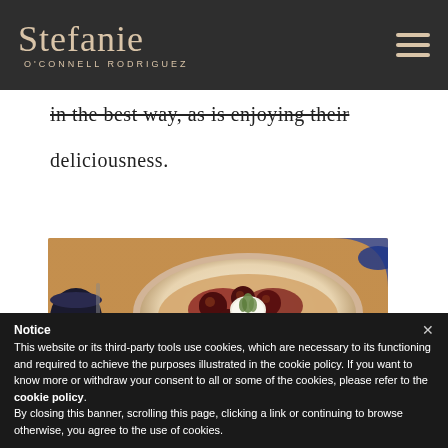Stefanie O'CONNELL RODRIGUEZ
in the best way, as is enjoying their deliciousness.
[Figure (photo): A plate of food with meatballs or glazed meat served on flatbread with rice and herbs, photographed from above on a wooden table.]
Notice
This website or its third-party tools use cookies, which are necessary to its functioning and required to achieve the purposes illustrated in the cookie policy. If you want to know more or withdraw your consent to all or some of the cookies, please refer to the cookie policy.
By closing this banner, scrolling this page, clicking a link or continuing to browse otherwise, you agree to the use of cookies.